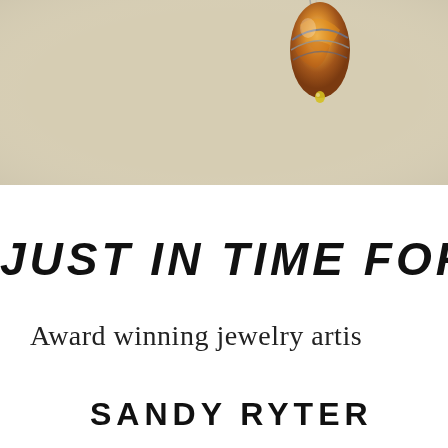[Figure (photo): Photo of a colorful glass bead pendant (amber, orange, blue swirled) on a wire or cord, against a light beige/gray textured background. Only the top portion of the bead is visible.]
JUST IN TIME FOR MOTHU
Award winning jewelry artis
SANDY RYTER